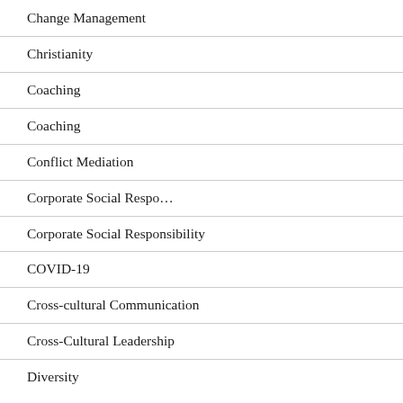Change Management
Christianity
Coaching
Coaching
Conflict Mediation
Corporate Social Respo…
Corporate Social Responsibility
COVID-19
Cross-cultural Communication
Cross-Cultural Leadership
Diversity